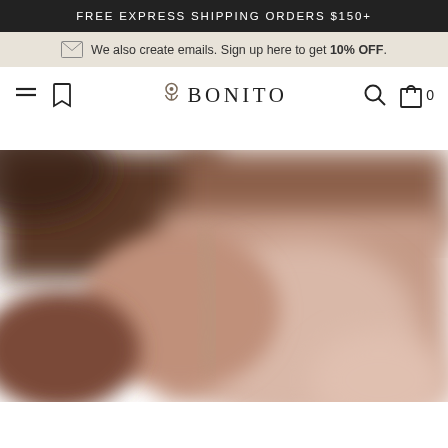FREE EXPRESS SHIPPING ORDERS $150+
We also create emails. Sign up here to get 10% OFF.
BONITO
[Figure (photo): Close-up blurred photograph of draped fabric in muted rose/blush and brown tones, showing soft folds and texture detail.]